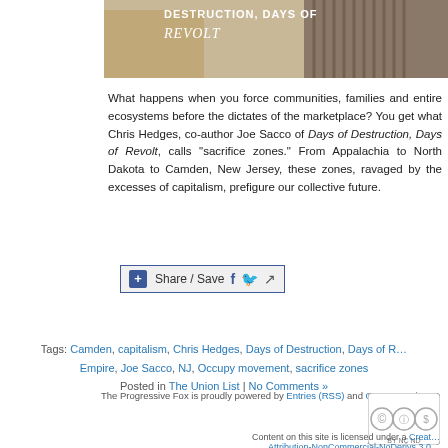[Figure (photo): Top portion of a book cover for 'Days of Destruction, Days of Revolt' by Chris Hedges and Joe Sacco, showing partial title text 'DESTRUCTION, DAYS OF REVOLT' in white on a tan/beige background with two figures visible]
What happens when you force communities, families and entire ecosystems before the dictates of the marketplace? You get what Chris Hedges, co-author Joe Sacco of Days of Destruction, Days of Revolt, calls "sacrifice zones." From Appalachia to North Dakota to Camden, New Jersey, these zones, ravaged by the excesses of capitalism, prefigure our collective future.
[Figure (other): Share / Save button with Facebook, Twitter, and generic share icons]
Tags: Camden, capitalism, Chris Hedges, Days of Destruction, Days of Revolt, Empire, Joe Sacco, NJ, Occupy movement, sacrifice zones
Posted in The Union List | No Comments »
The Progressive Fox is proudly powered by Entries (RSS) and Comments (RSS). Content on this site is licensed under a Creative Commons Attribution-NonCommercial-NoDerivs 3.0 Unported License